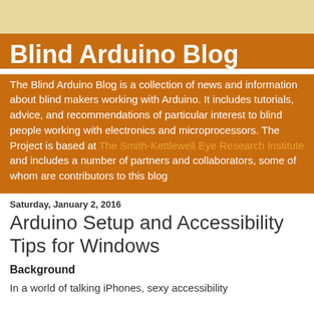Blind Arduino Blog
The Blind Arduino Blog is a collection of news and information about blind makers working with Arduino. It includes tutorials, advice, and recommendations of particular interest to blind people working with electronics and microprocessors. The Project is based at The Smith-Kettlewell Eye Research Institute and includes a number of partners and collaborators, some of whom are contributors to this blog
Saturday, January 2, 2016
Arduino Setup and Accessibility Tips for Windows
Background
In a world of talking iPhones, sexy accessibility